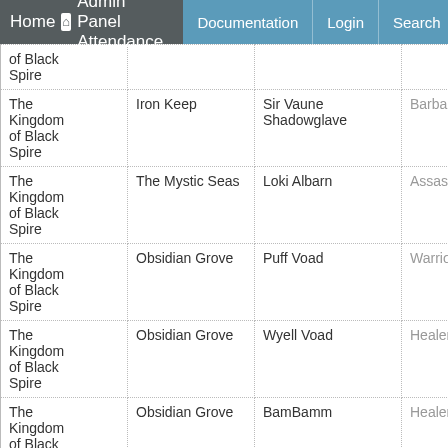Home Admin Panel Attendance Documentation Login Search
| Kingdom | Location | Name | Class |
| --- | --- | --- | --- |
| of Black Spire |  |  |  |
| The Kingdom of Black Spire | Iron Keep | Sir Vaune Shadowglave | Barbarian |
| The Kingdom of Black Spire | The Mystic Seas | Loki Albarn | Assassin |
| The Kingdom of Black Spire | Obsidian Grove | Puff Voad | Warrior |
| The Kingdom of Black Spire | Obsidian Grove | Wyell Voad | Healer |
| The Kingdom of Black Spire | Obsidian Grove | BamBamm | Healer |
| The |  |  |  |